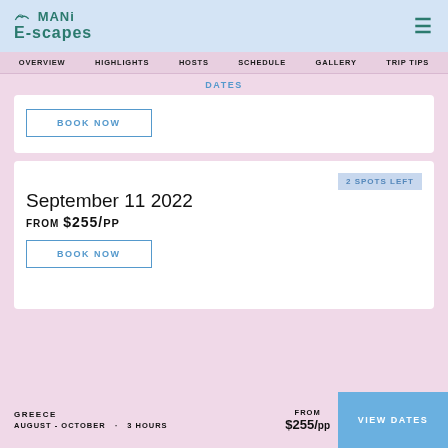MANi E-scapes
OVERVIEW  HIGHLIGHTS  HOSTS  SCHEDULE  GALLERY  TRIP TIPS
DATES
BOOK NOW
2 SPOTS LEFT
September 11 2022
FROM $255/pp
BOOK NOW
GREECE  AUGUST - OCTOBER  ·  3 HOURS  FROM $255/pp  VIEW DATES